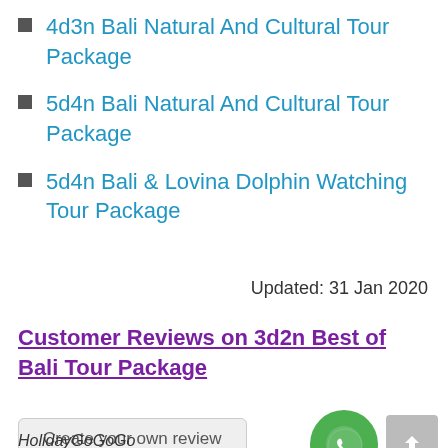4d3n Bali Natural And Cultural Tour Package
5d4n Bali Natural And Cultural Tour Package
5d4n Bali & Lovina Dolphin Watching Tour Package
Updated: 31 Jan 2020
Customer Reviews on 3d2n Best of Bali Tour Package
Create your own review
HolidayGoGoGo